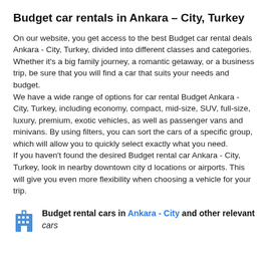Budget car rentals in Ankara – City, Turkey
On our website, you get access to the best Budget car rental deals Ankara - City, Turkey, divided into different classes and categories. Whether it's a big family journey, a romantic getaway, or a business trip, be sure that you will find a car that suits your needs and budget.
We have a wide range of options for car rental Budget Ankara - City, Turkey, including economy, compact, mid-size, SUV, full-size, luxury, premium, exotic vehicles, as well as passenger vans and minivans. By using filters, you can sort the cars of a specific group, which will allow you to quickly select exactly what you need.
If you haven't found the desired Budget rental car Ankara - City, Turkey, look in nearby downtown city d locations or airports. This will give you even more flexibility when choosing a vehicle for your trip.
Budget rental cars in Ankara - City and other relevant cars